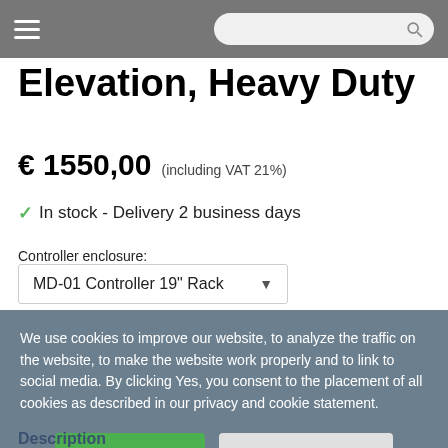Elevation, Heavy Duty
€ 1550,00 (including VAT 21%)
✓ In stock - Delivery 2 business days
Controller enclosure:
MD-01 Controller 19" Rack
Quantity
We use cookies to improve our website, to analyze the traffic on the website, to make the website work properly and to link to social media. By clicking Yes, you consent to the placement of all cookies as described in our privacy and cookie statement.
Yes, I agree
No, do not agree
Specifications
Description